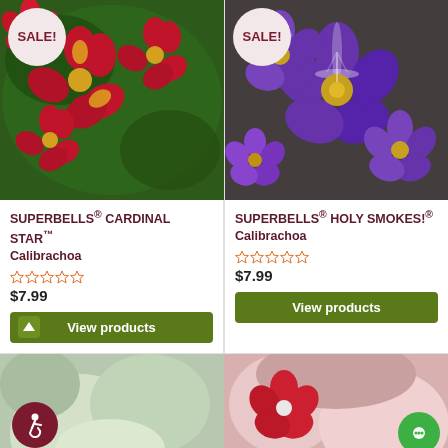[Figure (photo): Close-up of red and yellow Calibrachoa flowers (Superbells Cardinal Star) with SALE badge]
[Figure (photo): Close-up of purple and white Calibrachoa flowers (Superbells Holy Smokes) with SALE badge]
SUPERBELLS® CARDINAL STAR™ Calibrachoa
$7.99
View products
SUPERBELLS® HOLY SMOKES!® Calibrachoa
$7.99
View products
[Figure (photo): Bottom left partial flower photo with accessibility icon button]
[Figure (photo): Bottom right partial flower photo with chat button]